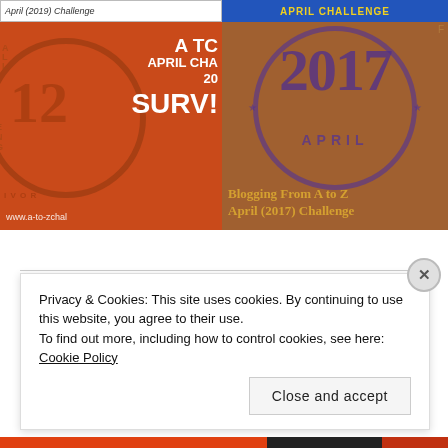[Figure (illustration): Top banner left: 'April (2019) Challenge' text on white background with border]
[Figure (illustration): Top banner right: 'APRIL CHALLENGE' text in yellow on blue background]
[Figure (illustration): Left image: Orange background with circular stamp showing '12', text 'A TO Z APRIL CHALLENGE 201 SURVI' and URL 'www.a-to-zchal...']
[Figure (illustration): Right image: Brown/orange background with purple circular stamp showing '2017', text 'APRIL', and caption 'Blogging From A to Z April (2017) Challenge']
Privacy & Cookies: This site uses cookies. By continuing to use this website, you agree to their use.
To find out more, including how to control cookies, see here: Cookie Policy
Close and accept